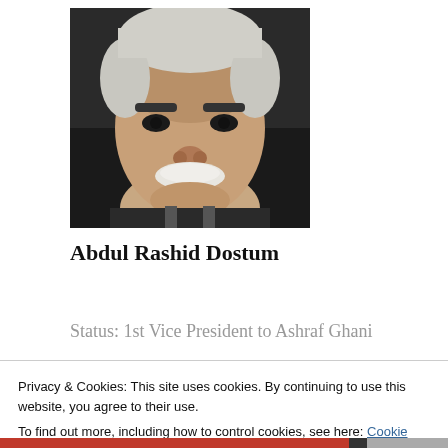[Figure (photo): Close-up photo of Abdul Rashid Dostum, a man with white/gray hair and a thick white mustache, wearing a suit, with a stern expression.]
Abdul Rashid Dostum
Status: 1st Vice President to Ashraf Ghani
Privacy & Cookies: This site uses cookies. By continuing to use this website, you agree to their use.
To find out more, including how to control cookies, see here: Cookie Policy
Close and accept